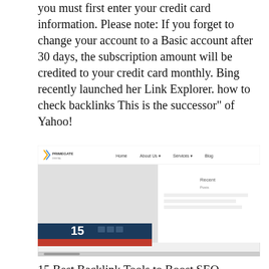you must first enter your credit card information. Please note: If you forget to change your account to a Basic account after 30 days, the subscription amount will be credited to your credit card monthly. Bing recently launched her Link Explorer. how to check backlinks This is the successor" of Yahoo!
[Figure (screenshot): Screenshot of Primegate Digital website showing navigation bar with Home, About Us, Services, Blog links, and a partial calendar widget showing the number 15, along with a Recent Posts sidebar panel.]
15 Best Backlink Tools to Boost SEO Strategy in 2022.
See Also: The 15 Best Online Marketing Strategies to Increase